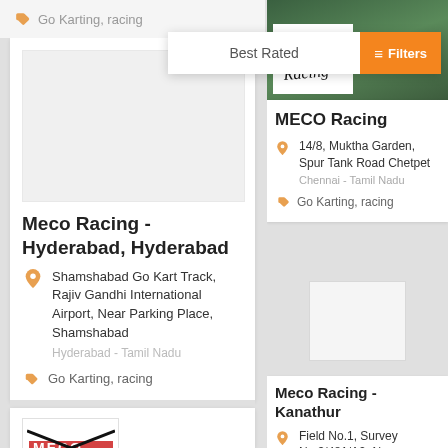Go Karting, racing
Best Rated
Filters
[Figure (screenshot): MECO Racing logo and green mountain background image]
MECO Racing
14/8, Muktha Garden, Spur Tank Road Chetpet
Chennai - Tamil Nadu
Go Karting, racing
[Figure (photo): White placeholder image box for Meco Racing Hyderabad]
Meco Racing - Hyderabad, Hyderabad
Shamshabad Go Kart Track, Rajiv Gandhi International Airport, Near Parking Place, Shamshabad
Hyderabad - Tamil Nadu
Go Karting, racing
[Figure (photo): White placeholder image box for Meco Racing Kanathur]
Meco Racing - Kanathur
Field No.1, Survey No.3/481/A2, Near Uthandi Bus Stand, East Coast Road, Uthandi...
[Figure (logo): MECO Racing logo - red and black text with strikethrough design]